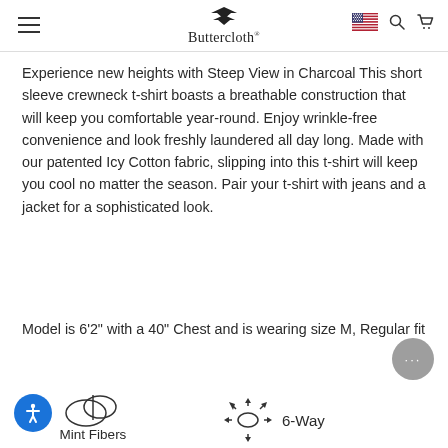Buttercloth
Experience new heights with Steep View in Charcoal This short sleeve crewneck t-shirt boasts a breathable construction that will keep you comfortable year-round. Enjoy wrinkle-free convenience and look freshly laundered all day long. Made with our patented Icy Cotton fabric, slipping into this t-shirt will keep you cool no matter the season. Pair your t-shirt with jeans and a jacket for a sophisticated look.
Model is 6'2" with a 40" Chest and is wearing size M, Regular fit
[Figure (illustration): Mint Fibers icon with leaf illustration and label 'Mint Fibers']
[Figure (illustration): 6-Way stretch icon with arrows radiating outward and label '6-Way']